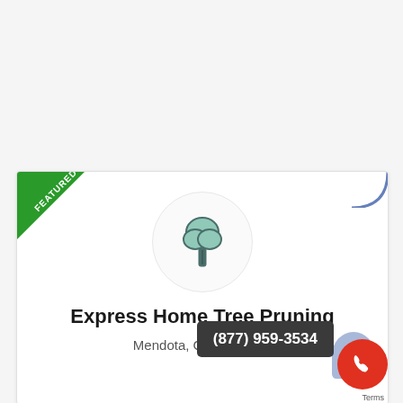[Figure (logo): Business listing card for Express Home Tree Pruning with a featured green ribbon in top-left corner, a tree icon in a circle, business name, location, and overlaid phone number badge]
Express Home Tree Pruning
Mendota, CA California